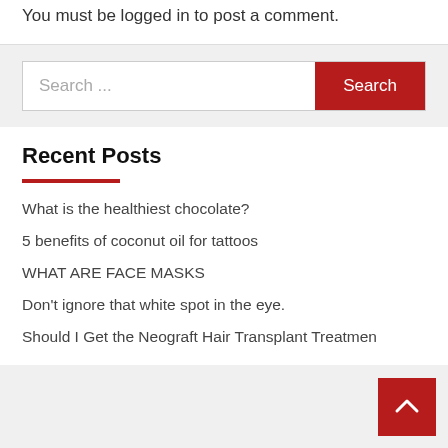You must be logged in to post a comment.
Search ...
Recent Posts
What is the healthiest chocolate?
5 benefits of coconut oil for tattoos
WHAT ARE FACE MASKS
Don't ignore that white spot in the eye.
Should I Get the Neograft Hair Transplant Treatment